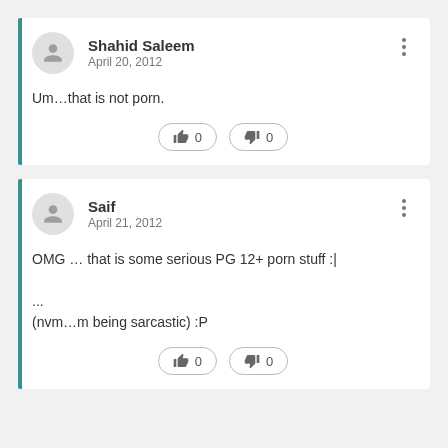Shahid Saleem
April 20, 2012
Um…that is not porn.
Saif
April 21, 2012
OMG … that is some serious PG 12+ porn stuff :|

...
(nvm…m being sarcastic) :P